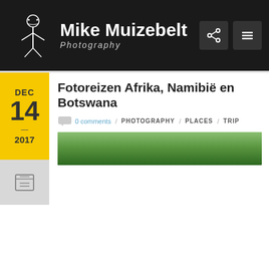Mike Muizebelt Photography
Fotoreizen Afrika, Namibië en Botswana
0 comments / PHOTOGRAPHY / PLACES / TRIP
DEC 14 — 2017
[Figure (photo): Green foliage/bush landscape strip image, Africa nature scene]